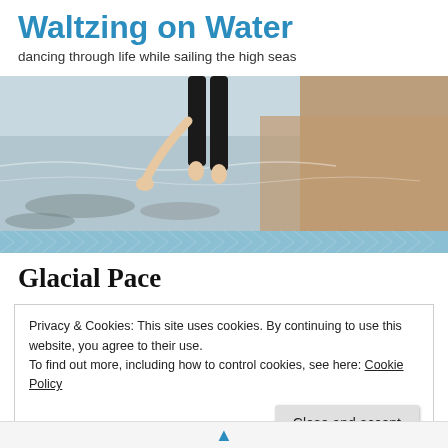Waltzing on Water
dancing through life while sailing the high seas
[Figure (photo): Person standing in shallow water at a rocky beach, wearing black pants, arm extended downward toward the water surface. Rocky sandy shore visible in background.]
Glacial Pace
Privacy & Cookies: This site uses cookies. By continuing to use this website, you agree to their use.
To find out more, including how to control cookies, see here: Cookie Policy
Close and accept